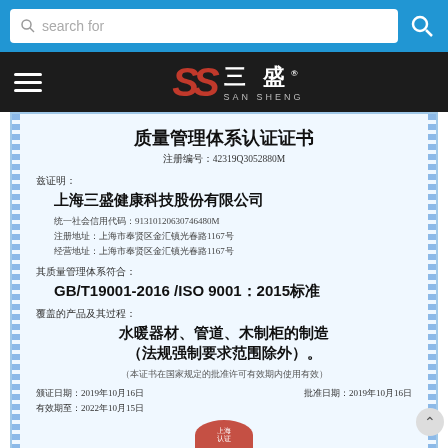[Figure (screenshot): Blue search bar with magnifying glass icon and 'search for' placeholder text, and a search button on the right]
[Figure (logo): San Sheng brand logo on dark background with hamburger menu icon. Red stylized SS logo with Chinese characters 三盛 and SAN SHENG text]
质量管理体系认证证书
注册编号：42319Q3052880M
兹证明：
上海三盛健康科技股份有限公司
统一社会信用代码：91310120630746480M
注册地址：上海市奉贤区金汇镇光春路1167号
经营地址：上海市奉贤区金汇镇光春路1167号
其质量管理体系符合：
GB/T19001-2016 /ISO 9001：2015标准
覆盖的产品及其过程：
水暖器材、管道、木制柜的制造（法规强制要求范围除外）。
（本证书在国家规定的批准许可有效期内使用有效）
颁证日期：2019年10月16日
批准日期：2019年10月16日
有效期至：2022年10月15日